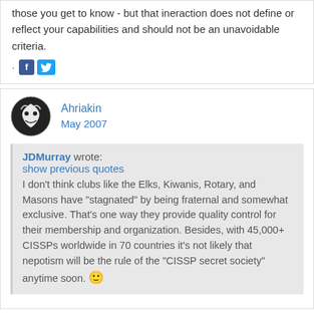those you get to know - but that ineraction does not define or reflect your capabilities and should not be an unavoidable criteria.
[Figure (other): Facebook and Twitter social share icons]
Ahriakin
May 2007
JDMurray wrote:
show previous quotes
I don't think clubs like the Elks, Kiwanis, Rotary, and Masons have "stagnated" by being fraternal and somewhat exclusive. That's one way they provide quality control for their membership and organization. Besides, with 45,000+ CISSPs worldwide in 70 countries it's not likely that nepotism will be the rule of the "CISSP secret society" anytime soon. 🙂
I guess here's my fundamental problem. There is a whole 'fraternity' mentality in the states that either doesn't exist or